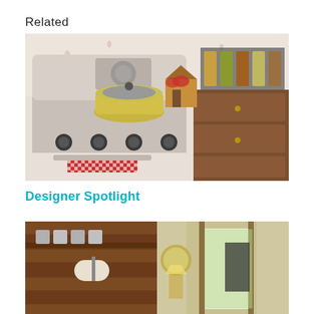Related
[Figure (photo): Vintage retro kitchen scene with a cream-colored stove, yellow enamel pot on top, red and white checkered dish towel on oven handle, floral wallpaper, wooden dresser/cabinet on the right with a gingerbread house decoration and bottle rack with oils and spices above.]
Designer Spotlight
[Figure (photo): Two-panel interior photo: left panel shows a rustic wood-paneled kitchen with metal canisters on a shelf, a paper towel holder, and vintage kitchen items; right panel shows a warmly lit hallway/entryway with a round mirror, lamp, and open door.]